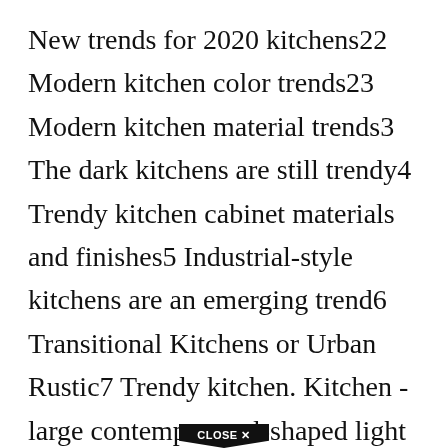New trends for 2020 kitchens22 Modern kitchen color trends23 Modern kitchen material trends3 The dark kitchens are still trendy4 Trendy kitchen cabinet materials and finishes5 Industrial-style kitchens are an emerging trend6 Transitional Kitchens or Urban Rustic7 Trendy kitchen. Kitchen - large contemporary l-shaped light wood floor kitchen idea in Atlanta with a farmhouse sink shaker cabinets white cabinets soapstone countertops gray backsplash stone tile backsplash stainless